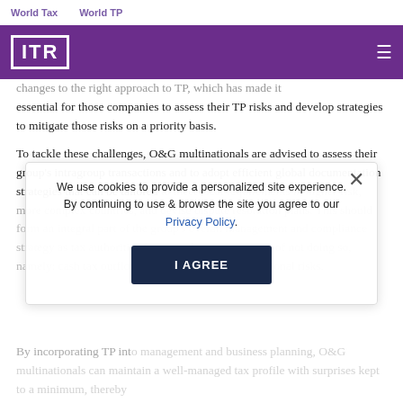World Tax   World TP
[Figure (logo): ITR logo in white on purple navigation bar with hamburger menu icon]
...changes to the right approach to TP, which has made it essential for those companies to assess their TP risks and develop strategies to mitigate those risks on a priority basis.
To tackle these challenges, O&G multinationals are advised to assess their group's intragroup transactions and to adopt efficient global documentation strategies that can be tailored to meet local requirements in higher-risk, more complex countries, and devise dispute resolution plans. This should form an integral part of the group's overall management and compliance strategy as tax authorities focus on the consequences of not doing so, namely: cash tax outflow, penalties and even reputational risks.
We use cookies to provide a personalized site experience. By continuing to use & browse the site you agree to our Privacy Policy.
By incorporating TP into management and business planning, O&G multinationals can maintain a well-managed tax profile with surprises kept to a minimum, thereby